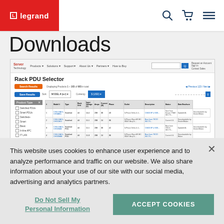[Figure (screenshot): Legrand website header with red logo box, navigation icons (search, cart, menu)]
Downloads
[Figure (screenshot): Server Technology Rack PDU Selector webpage screenshot showing product selector table with filter sidebar and product listings]
This website uses cookies to enhance user experience and to analyze performance and traffic on our website. We also share information about your use of our site with our social media, advertising and analytics partners.
Do Not Sell My Personal Information
ACCEPT COOKIES